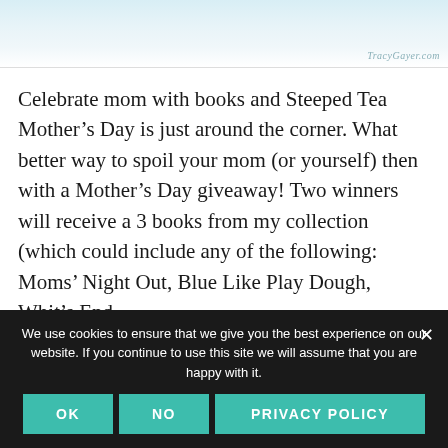[Figure (photo): Top portion of a food/tea styled photograph, partially cropped, with a watermark reading 'TracyGayer.com' in the lower right corner.]
Celebrate mom with books and Steeped Tea Mother’s Day is just around the corner. What better way to spoil your mom (or yourself) then with a Mother’s Day giveaway! Two winners will receive a 3 books from my collection (which could include any of the following: Moms’ Night Out, Blue Like Play Dough, Whit’s End
We use cookies to ensure that we give you the best experience on our website. If you continue to use this site we will assume that you are happy with it.
OK
NO
PRIVACY POLICY